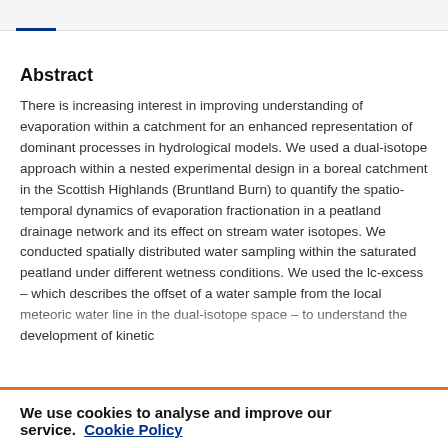Abstract
There is increasing interest in improving understanding of evaporation within a catchment for an enhanced representation of dominant processes in hydrological models. We used a dual-isotope approach within a nested experimental design in a boreal catchment in the Scottish Highlands (Bruntland Burn) to quantify the spatio-temporal dynamics of evaporation fractionation in a peatland drainage network and its effect on stream water isotopes. We conducted spatially distributed water sampling within the saturated peatland under different wetness conditions. We used the lc-excess – which describes the offset of a water sample from the local meteoric water line in the dual-isotope space – to understand the development of kinetic
We use cookies to analyse and improve our service. Cookie Policy